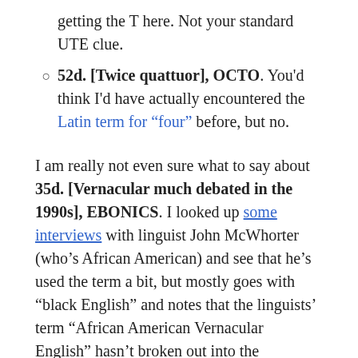getting the T here. Not your standard UTE clue.
52d. [Twice quattuor], OCTO. You'd think I'd have actually encountered the Latin term for “four” before, but no.
I am really not even sure what to say about 35d. [Vernacular much debated in the 1990s], EBONICS. I looked up some interviews with linguist John McWhorter (who’s African American) and see that he’s used the term a bit, but mostly goes with “black English” and notes that the linguists’ term “African American Vernacular English” hasn’t broken out into the mainstream. Can’t help feeling that the people who use “Ebonics” are usually using it in a pejorative sense and wrongly believe that AAVE is “ungrammatical” and “wrong,” when actually it’s got a very specific grammar and usage (such as using “be” for the habitual present tense in a way that standard English